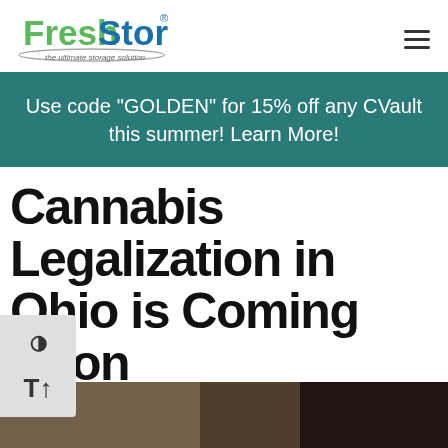[Figure (logo): FreshStor logo with tagline 'the ultimate storage solution']
Use code "GOLDEN" for 15% off any CVault this summer! Learn More!
Cannabis Legalization in Ohio is Coming Soon
October 28, 2021
[Figure (photo): Bottom portion of a photo, dark tones, partial view]